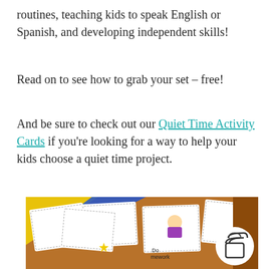routines, teaching kids to speak English or Spanish, and developing independent skills!
Read on to see how to grab your set – free!
And be sure to check out our Quiet Time Activity Cards if you're looking for a way to help your kids choose a quiet time project.
[Figure (photo): A spread of colorful printable activity cards for children, showing illustrated kids doing activities like homework. Cards have dashed borders and are scattered on a wooden surface with blue and yellow graphic elements visible.]